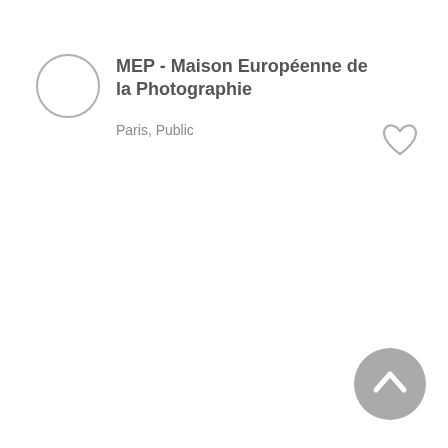[Figure (logo): Circular placeholder logo outline (grey circle, no fill) on the left side of the header]
MEP - Maison Européenne de la Photographie
Paris, Public
[Figure (illustration): Heart icon outline in grey, positioned upper right area]
[Figure (illustration): Grey circular button with upward chevron arrow, positioned bottom right corner]